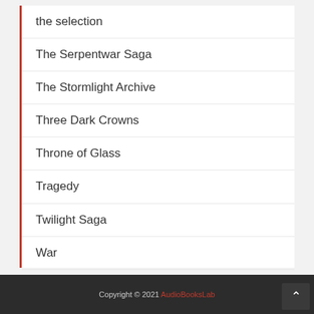the selection
The Serpentwar Saga
The Stormlight Archive
Three Dark Crowns
Throne of Glass
Tragedy
Twilight Saga
War
Winternight
Copyright © 2021 AudioBooksLab